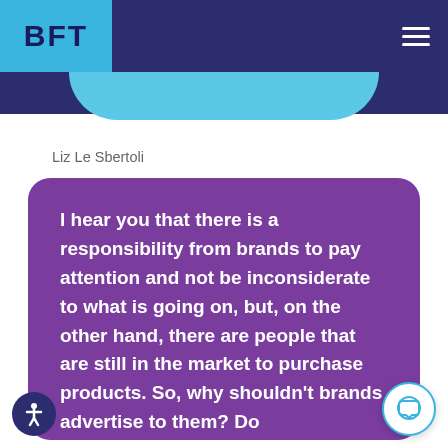BFT
Liz Le Sbertoli
I hear you that there is a responsibility from brands to pay attention and not be inconsiderate to what is going on, but, on the other hand, there are people that are still in the market to purchase products. So, why shouldn’t brands advertise to them? Do